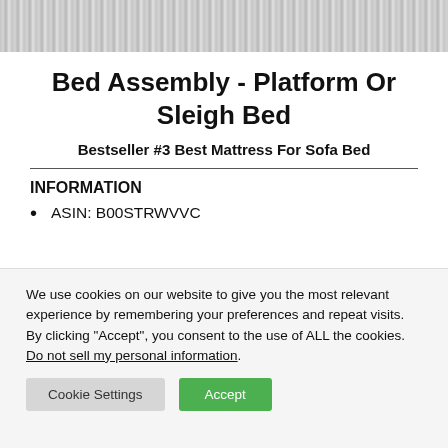[Figure (photo): Fluffy gray fabric or rug texture, close-up photo cropped at top of page]
Bed Assembly - Platform Or Sleigh Bed
Bestseller #3 Best Mattress For Sofa Bed
INFORMATION
ASIN: B00STRWVVC
We use cookies on our website to give you the most relevant experience by remembering your preferences and repeat visits. By clicking “Accept”, you consent to the use of ALL the cookies. Do not sell my personal information.